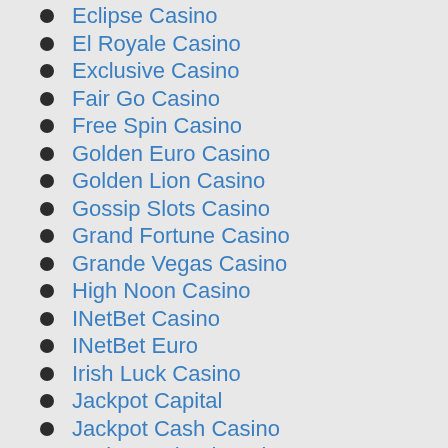Eclipse Casino
El Royale Casino
Exclusive Casino
Fair Go Casino
Free Spin Casino
Golden Euro Casino
Golden Lion Casino
Gossip Slots Casino
Grand Fortune Casino
Grande Vegas Casino
High Noon Casino
INetBet Casino
INetBet Euro
Irish Luck Casino
Jackpot Capital
Jackpot Cash Casino
Jackpot Wheel Casino
Jupiter Club Casino